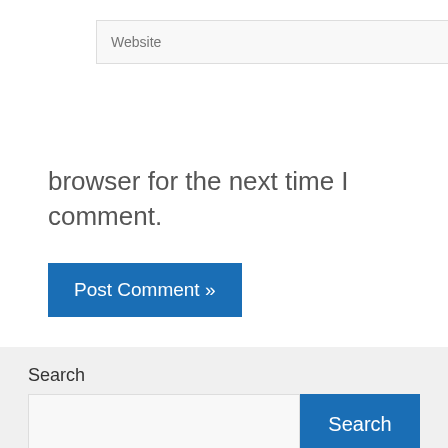[Figure (screenshot): Website input field with placeholder text 'Website']
email, and website in this browser for the next time I comment.
[Figure (screenshot): Post Comment button with text 'Post Comment »']
Search
[Figure (screenshot): Search input field and Search button]
current news